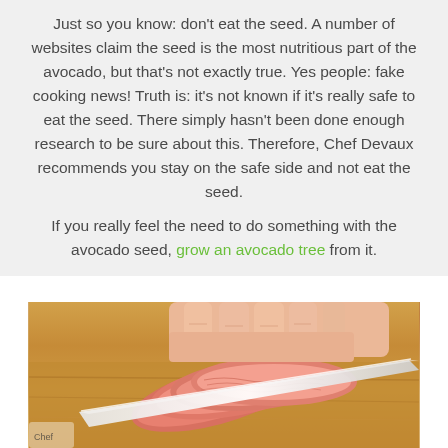Just so you know: don't eat the seed. A number of websites claim the seed is the most nutritious part of the avocado, but that's not exactly true. Yes people: fake cooking news! Truth is: it's not known if it's really safe to eat the seed. There simply hasn't been done enough research to be sure about this. Therefore, Chef Devaux recommends you stay on the safe side and not eat the seed.
If you really feel the need to do something with the avocado seed, grow an avocado tree from it.
[Figure (photo): A person's hand holding a knife slicing pink/salmon colored fish (salmon sashimi) on a wooden cutting board. The fish is fanned out in slices.]